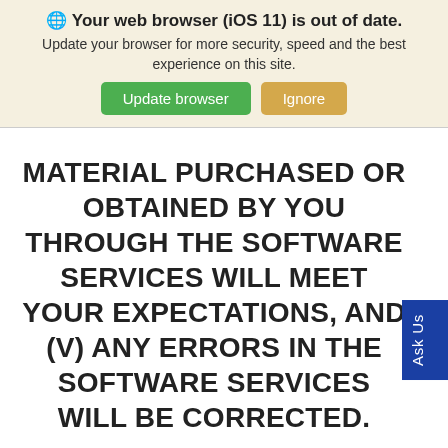[Figure (screenshot): Browser update banner with globe icon, bold title 'Your web browser (iOS 11) is out of date.', subtitle text, and two buttons: green 'Update browser' and tan 'Ignore']
MATERIAL PURCHASED OR OBTAINED BY YOU THROUGH THE SOFTWARE SERVICES WILL MEET YOUR EXPECTATIONS, AND (V) ANY ERRORS IN THE SOFTWARE SERVICES WILL BE CORRECTED.
YOU UNDERSTAND AND AGREE THAT YOU USE THE SOFTWARE SERVICES, AND ALL THIRD PARTY SOFTWARE OR SERVICES MADE AVAILABLE IN CONJUNCTION WITH OR THROUGH THE SOFTWARE